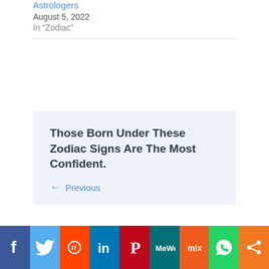Astrologers
August 5, 2022
In "Zodiac"
Those Born Under These Zodiac Signs Are The Most Confident.
← Previous
[Figure (infographic): Social media sharing buttons row: Facebook, Twitter, Reddit, LinkedIn, Pinterest, MeWe, Mix, WhatsApp, Share]